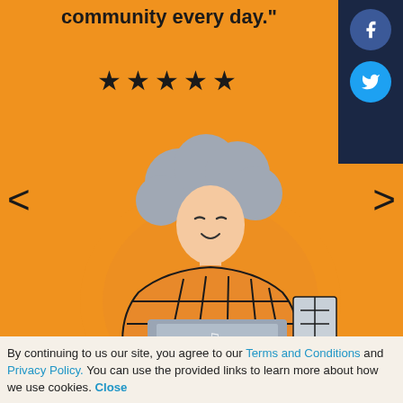community every day."
[Figure (illustration): Five black stars rating]
[Figure (illustration): Illustration of an elderly woman with gray curly hair sitting at a laptop, wearing a plaid/checkered outfit, on an orange background]
<
>
By continuing to us our site, you agree to our Terms and Conditions and Privacy Policy. You can use the provided links to learn more about how we use cookies. Close